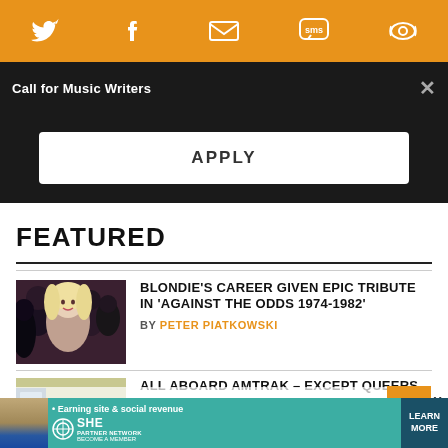[Figure (screenshot): Orange social sharing bar with Twitter, Facebook, email, SMS, and refresh icons]
Call for Music Writers
APPLY
FEATURED
[Figure (photo): Photo of Blondie band members - group shot with blonde woman in front]
BLONDIE'S CAREER GIVEN EPIC TRIBUTE IN 'AGAINST THE ODDS 1974-1982'
BY PETER PIATKOWSKI
[Figure (photo): Photo of Amtrak train corridor and flat landscape]
ALL ABOARD AMTRAK – EXCEPT QUEERS
BY MICHAEL ABERNETHY
[Figure (screenshot): SHE Media ad banner - Earning site and social revenue, Partner Network, Become a Member, Learn More]